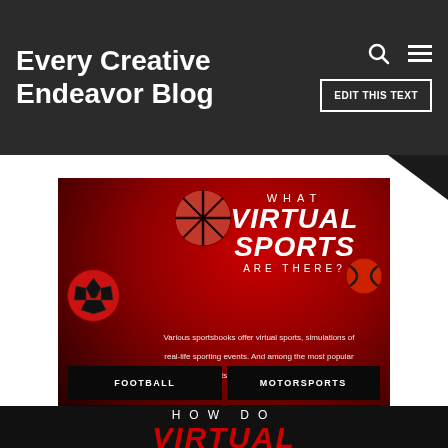Every Creative Endeavor Blog
[Figure (infographic): Infographic on red-black gradient background asking 'What Virtual Sports Are There?' with soccer ball and basketball icons, descriptive text about sportsbooks, and a 2x3 grid of sport categories: Football, Motorsports, Horse Racing, Tennis, Dog Racing, Basketball]
HOW DO VIRTUAL